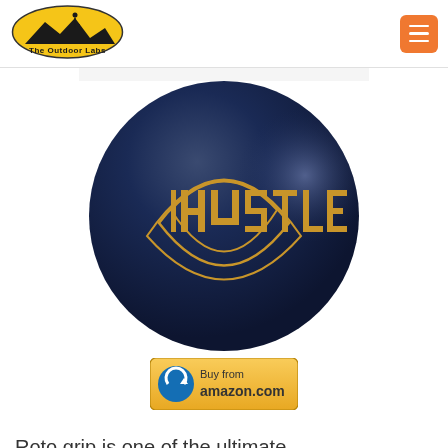The Outdoor Labs
[Figure (photo): Navy blue Roto Grip Hustle bowling ball with gold 'HUSTLE' logo and decorative swirl design]
[Figure (other): Buy from amazon.com button with Amazon logo arrow]
Roto grip is one of the ultimate